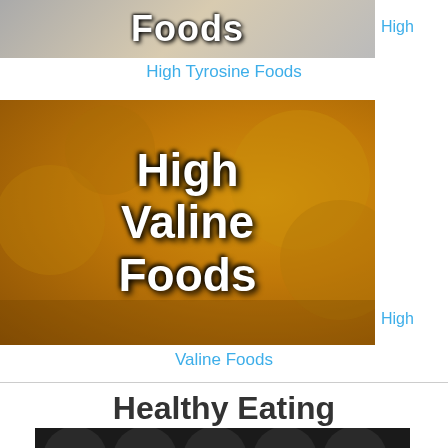[Figure (photo): Image with text overlay reading 'Foods' - top portion of a High Tyrosine Foods image]
High Tyrosine Foods
[Figure (photo): Image showing cheese wheels on a wooden board with text overlay 'High Valine Foods']
High Valine Foods
Healthy Eating
[Figure (photo): Bottom portion of an image with text '10 Cheap and Healthy...' visible at bottom edge]